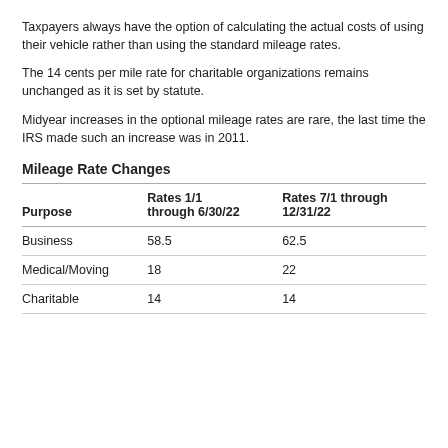Taxpayers always have the option of calculating the actual costs of using their vehicle rather than using the standard mileage rates.
The 14 cents per mile rate for charitable organizations remains unchanged as it is set by statute.
Midyear increases in the optional mileage rates are rare, the last time the IRS made such an increase was in 2011.
Mileage Rate Changes
| Purpose | Rates 1/1 through 6/30/22 | Rates 7/1 through 12/31/22 |
| --- | --- | --- |
| Business | 58.5 | 62.5 |
| Medical/Moving | 18 | 22 |
| Charitable | 14 | 14 |